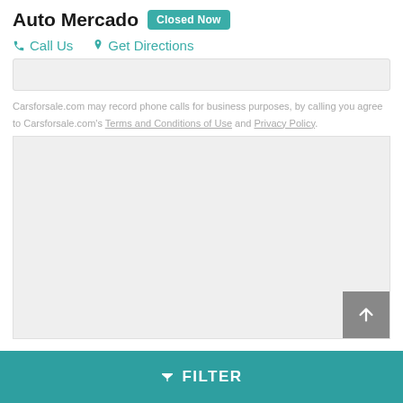Auto Mercado  Closed Now
Call Us   Get Directions
Carsforsale.com may record phone calls for business purposes, by calling you agree to Carsforsale.com's Terms and Conditions of Use and Privacy Policy.
[Figure (map): Embedded map placeholder area (light gray box)]
FILTER